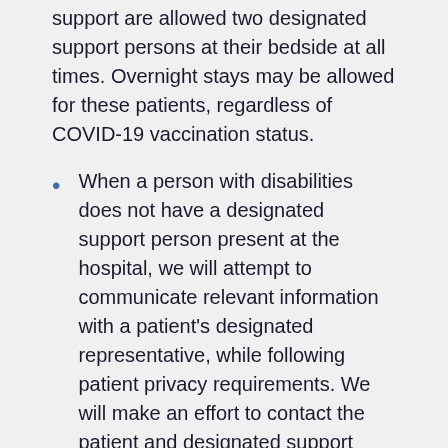support are allowed two designated support persons at their bedside at all times. Overnight stays may be allowed for these patients, regardless of COVID-19 vaccination status.
When a person with disabilities does not have a designated support person present at the hospital, we will attempt to communicate relevant information with a patient's designated representative, while following patient privacy requirements. We will make an effort to contact the patient and designated support person before hospital admission, if possible, to let them know about this policy.
Please see Patient Safety Measures at Our Inpatient Facilities to learn more about the rules